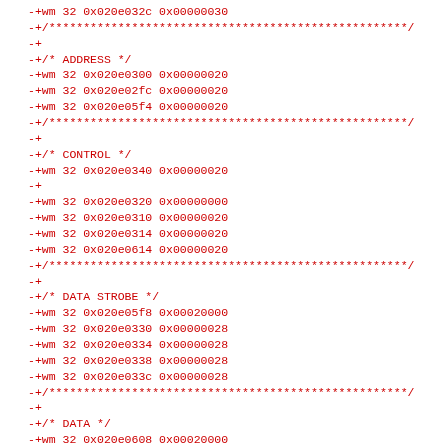-+wm 32 0x020e032c 0x00000030
-+/****************************************************/
-+
-+/* ADDRESS */
-+wm 32 0x020e0300 0x00000020
-+wm 32 0x020e02fc 0x00000020
-+wm 32 0x020e05f4 0x00000020
-+/****************************************************/
-+
-+/* CONTROL */
-+wm 32 0x020e0340 0x00000020
-+
-+wm 32 0x020e0320 0x00000000
-+wm 32 0x020e0310 0x00000020
-+wm 32 0x020e0314 0x00000020
-+wm 32 0x020e0614 0x00000020
-+/****************************************************/
-+
-+/* DATA STROBE */
-+wm 32 0x020e05f8 0x00020000
-+wm 32 0x020e0330 0x00000028
-+wm 32 0x020e0334 0x00000028
-+wm 32 0x020e0338 0x00000028
-+wm 32 0x020e033c 0x00000028
-+/****************************************************/
-+
-+/* DATA */
-+wm 32 0x020e0608 0x00020000
-+wm 32 0x020e060c 0x00000028
+wm 32 0x020e0610 0x00000028